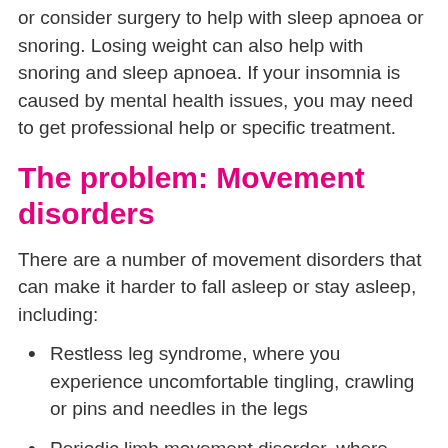or consider surgery to help with sleep apnoea or snoring. Losing weight can also help with snoring and sleep apnoea. If your insomnia is caused by mental health issues, you may need to get professional help or specific treatment.
The problem: Movement disorders
There are a number of movement disorders that can make it harder to fall asleep or stay asleep, including:
Restless leg syndrome, where you experience uncomfortable tingling, crawling or pins and needles in the legs
Periodic limb movement disorder, where people jerk or kick their legs frequently